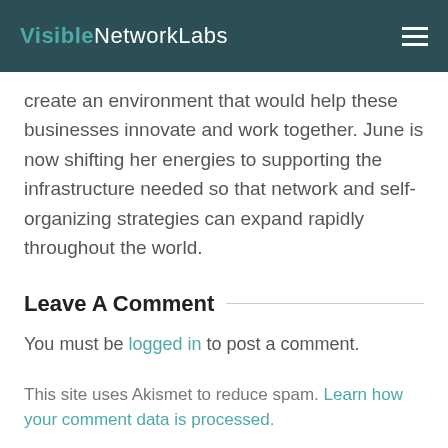VisibleNetworkLabs
create an environment that would help these businesses innovate and work together. June is now shifting her energies to supporting the infrastructure needed so that network and self-organizing strategies can expand rapidly throughout the world.
Leave A Comment
You must be logged in to post a comment.
This site uses Akismet to reduce spam. Learn how your comment data is processed.